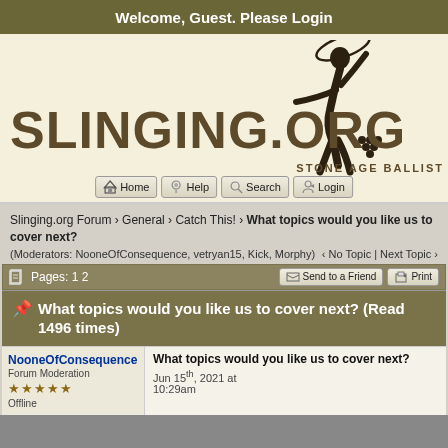Welcome, Guest. Please Login
[Figure (logo): Slinging.org logo with silhouette of person swinging a sling overhead, text SLINGING.ORG and STONE AGE BALLIST]
[Figure (screenshot): Navigation buttons: Home, Help, Search, Login]
Slinging.org Forum › General › Catch This! › What topics would you like us to cover next?
(Moderators: NooneOfConsequence, vetryan15, Kick, Morphy)   ‹ No Topic | Next Topic ›
Pages: 1 2
Send to a Friend   Print
What topics would you like us to cover next? (Read 1496 times)
NooneOfConsequence
Forum Moderation
★★★★★
Offline
What topics would you like us to cover next?
Jun 15th, 2021 at 10:29am